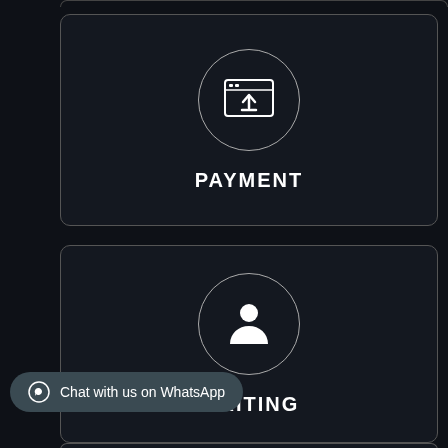[Figure (illustration): PAYMENT card with a circle icon containing a browser upload symbol and bold white text PAYMENT below]
[Figure (illustration): WRITING card with a circle icon containing a person/user silhouette symbol and bold white text WRITING below]
Chat with us on WhatsApp